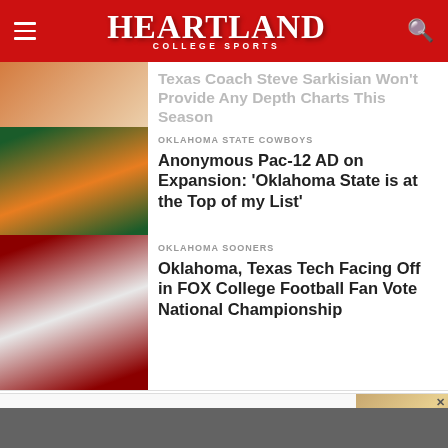Heartland College Sports
Texas Coach Steve Sarkisian Won't Provide Any Depth Charts This Season
OKLAHOMA STATE COWBOYS
Anonymous Pac-12 AD on Expansion: ‘Oklahoma State is at the Top of my List’
OKLAHOMA SOONERS
Oklahoma, Texas Tech Facing Off in FOX College Football Fan Vote National Championship
[Figure (photo): Advertisement banner for Giving Tree Housing with logo, text and hands holding photo]
Providing quality housing solutions for those who do not have the means or ability to get help on their own. Click Now to Learn How YOU Can Make a Difference!